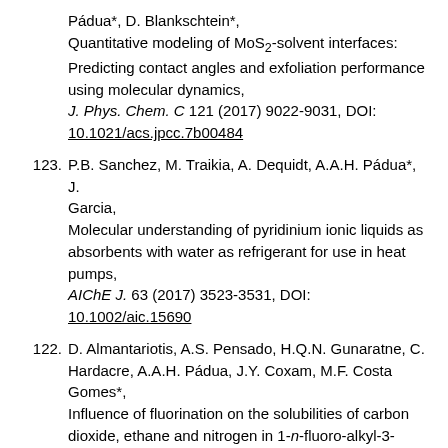Pádua*, D. Blankschtein*, Quantitative modeling of MoS2-solvent interfaces: Predicting contact angles and exfoliation performance using molecular dynamics, J. Phys. Chem. C 121 (2017) 9022-9031, DOI: 10.1021/acs.jpcc.7b00484
123. P.B. Sanchez, M. Traikia, A. Dequidt, A.A.H. Pádua*, J. Garcia, Molecular understanding of pyridinium ionic liquids as absorbents with water as refrigerant for use in heat pumps, AIChE J. 63 (2017) 3523-3531, DOI: 10.1002/aic.15690
122. D. Almantariotis, A.S. Pensado, H.Q.N. Gunaratne, C. Hardacre, A.A.H. Pádua, J.Y. Coxam, M.F. Costa Gomes*, Influence of fluorination on the solubilities of carbon dioxide, ethane and nitrogen in 1-n-fluoro-alkyl-3-methylimidazolium bis(n-fluoroalkylsulfonyl)amide ionic liquids,